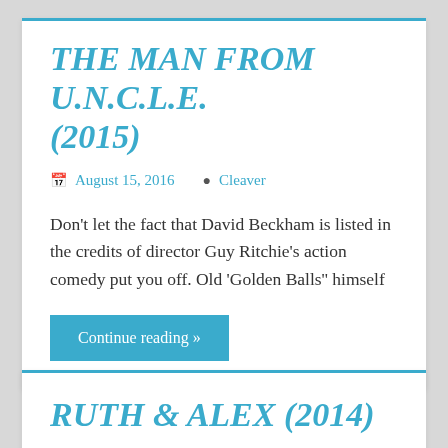THE MAN FROM U.N.C.L.E. (2015)
August 15, 2016   Cleaver
Don't let the fact that David Beckham is listed in the credits of director Guy Ritchie's action comedy put you off. Old 'Golden Balls'' himself
Continue reading »
RUTH & ALEX (2014)